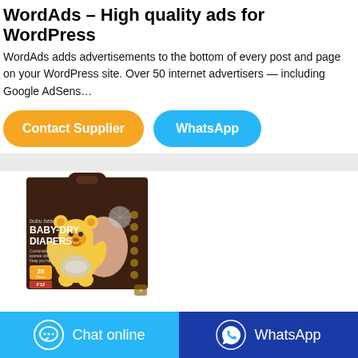WordAds – High quality ads for WordPress
WordAds adds advertisements to the bottom of every post and page on your WordPress site. Over 50 internet advertisers — including Google AdSens…
[Figure (other): Orange 'Contact Supplier' button and blue 'WhatsApp' button]
[Figure (photo): Bubu Bear Baby-Dry Diapers product box, brown packaging with cartoon bear mascot, 28 pieces label]
[Figure (other): Blue 'Chat online' button with speech bubble icon and dark blue 'WhatsApp' button with WhatsApp icon at the bottom of the page]